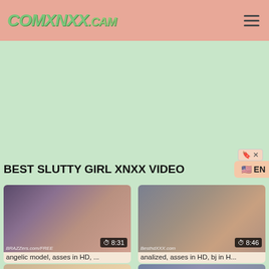COMXNXX.CAM
here porn search
BEST SLUTTY GIRL XNXX VIDEO
EN
[Figure (screenshot): Video thumbnail 1 - duration 8:31, watermark brazzers.com/free]
angelic model, asses in HD, ...
[Figure (screenshot): Video thumbnail 2 - duration 8:46, watermark besthdxxx.com]
analized, asses in HD, bj in H...
[Figure (screenshot): Video thumbnail 3 - partial, blonde woman]
[Figure (screenshot): Video thumbnail 4 - partial, woman with toy]